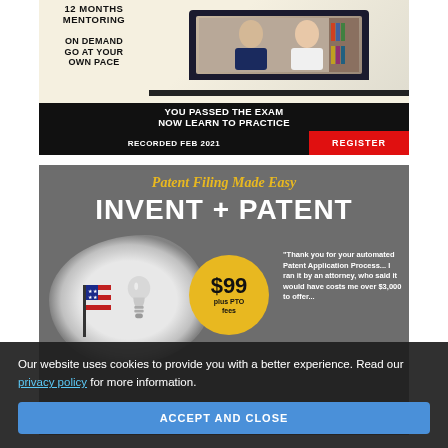[Figure (screenshot): Advertisement banner: '12 MONTHS MENTORING ON DEMAND GO AT YOUR OWN PACE' with laptop showing two men, bottom bar reads 'YOU PASSED THE EXAM NOW LEARN TO PRACTICE', strip at bottom: 'RECORDED FEB 2021' and red 'REGISTER' button]
[Figure (screenshot): Advertisement: 'Patent Filing Made Easy - INVENT + PATENT' on grey background with lightbulb illustration, American flag, yellow $99 price badge (plus PTO fees), and testimonial quote about automated Patent Application Process]
Our website uses cookies to provide you with a better experience. Read our privacy policy for more information.
ACCEPT AND CLOSE